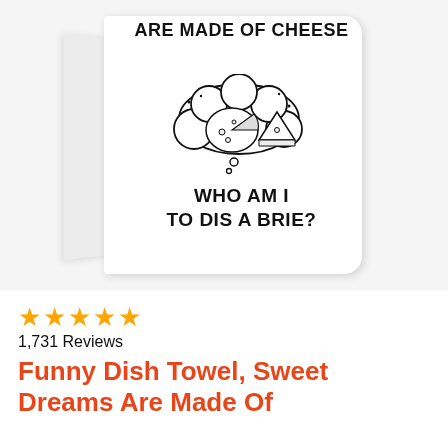[Figure (photo): A folded white dish towel printed with the text 'ARE MADE OF CHEESE' at the top, a thought bubble illustration containing cheese wheels, and 'WHO AM I TO DIS A BRIE?' below the thought bubble.]
★★★★★
1,731 Reviews
Funny Dish Towel, Sweet Dreams Are Made Of